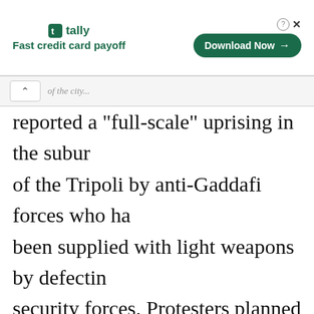[Figure (screenshot): Tally app advertisement banner with logo, tagline 'Fast credit card payoff', and a green 'Download Now' button with close/help icons.]
reported a "full-scale" uprising in the suburbs of the Tripoli by anti-Gaddafi forces who had been supplied with light weapons by defecting security forces. Protesters planned to head towards the centre of the city.[38]A Libyan official denied the report and said that it was peaceful in Tripoli. Reuters correspondent in the center of the city heard no gunfire.[39]The following day, Al Jazeera reported that